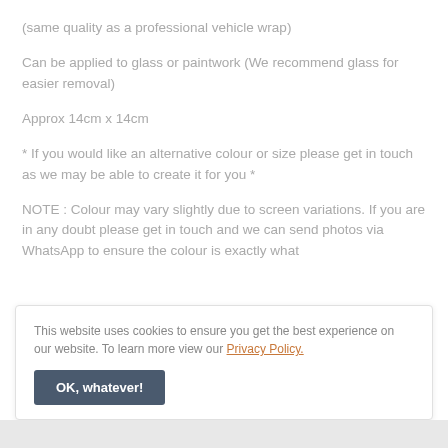(same quality as a professional vehicle wrap)
Can be applied to glass or paintwork (We recommend glass for easier removal)
Approx 14cm x 14cm
* If you would like an alternative colour or size please get in touch as we may be able to create it for you *
NOTE : Colour may vary slightly due to screen variations. If you are in any doubt please get in touch and we can send photos via WhatsApp to ensure the colour is exactly what
This website uses cookies to ensure you get the best experience on our website. To learn more view our Privacy Policy.
OK, whatever!